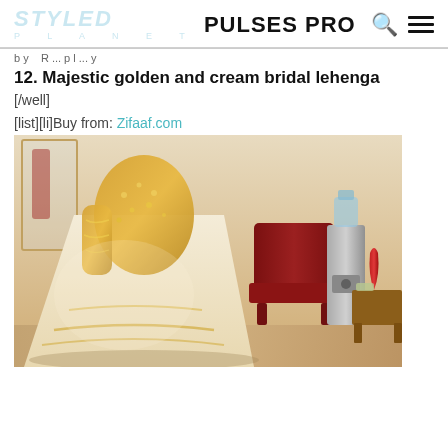STYLED PLANET / PULSES PRO
Buy from: [partially cut off text above]
12. Majestic golden and cream bridal lehenga
[/well]
[list][li]Buy from: Zifaaf.com
[Figure (photo): Woman wearing a majestic golden and cream bridal lehenga with gold embroidery on the bodice and skirt, photographed in a room with a red chair, water dispenser, red vase, and wooden side table in the background.]